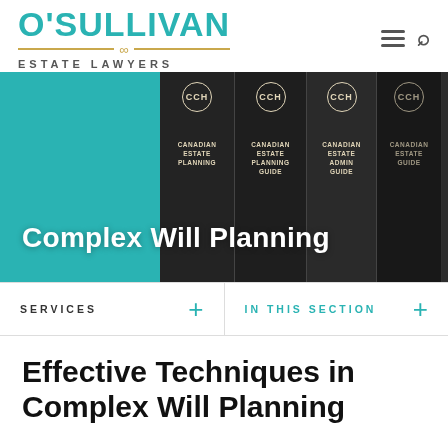[Figure (logo): O'Sullivan Estate Lawyers logo with teal text and gold infinity divider]
[Figure (photo): Hero banner showing CCH Canadian Estate Planning Guide book spines on a shelf with teal overlay and 'Complex Will Planning' text overlay]
SERVICES
IN THIS SECTION
Effective Techniques in Complex Will Planning